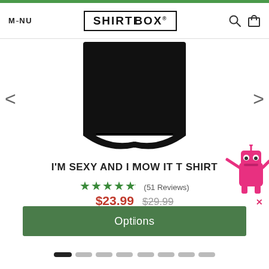MENU | SHIRTBOX® | [search icon] [cart icon]
[Figure (photo): Bottom portion of a black t-shirt on white background, with left and right carousel navigation arrows]
I'M SEXY AND I MOW IT T SHIRT
★★★★★ (51 Reviews)
$23.99 $29.99
Options
[Figure (illustration): Pink cartoon robot character popup in bottom right corner with a close (x) button]